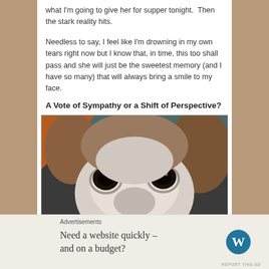what I'm going to give her for supper tonight. Then the stark reality hits.
Needless to say, I feel like I'm drowning in my own tears right now but I know that, in time, this too shall pass and she will just be the sweetest memory (and I have so many) that will always bring a smile to my face.
A Vote of Sympathy or a Shift of Perspective?
[Figure (photo): Close-up photo of a dog's face, showing large dark eyes, white muzzle, and brown ears, peeking from under a blanket]
Advertisements
Need a website quickly – and on a budget?